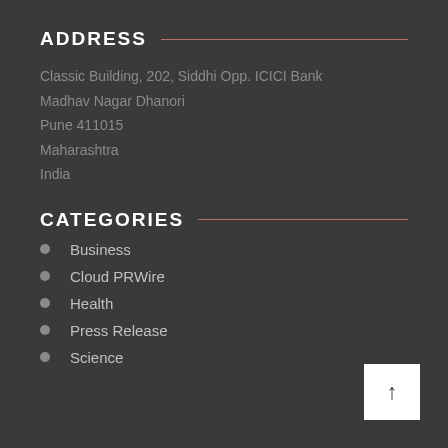ADDRESS
Classic Building, 202, Siddhi Opp. ICICI Bank
Madhav Nagar Dhanori
Pune 411015
Maharashtra
India
CATEGORIES
Business
Cloud PRWire
Health
Press Release
Science